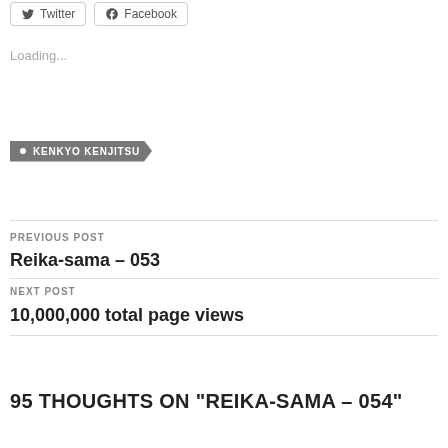[Figure (screenshot): Twitter and Facebook share buttons at top of page]
Loading...
KENKYO KENJITSU
PREVIOUS POST
Reika-sama – 053
NEXT POST
10,000,000 total page views
95 THOUGHTS ON "REIKA-SAMA – 054"